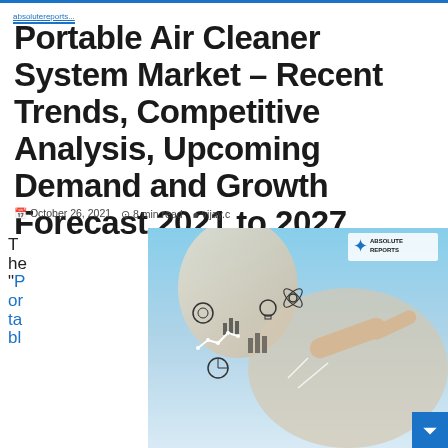absolutereports...
Portable Air Cleaner System Market – Recent Trends, Competitive Analysis, Upcoming Demand and Growth Forecast 2021 to 2027
October 26, 2021   8 min read   vijay.c
The "Portabl
[Figure (photo): Business person pointing at floating digital icons and business analytics diagrams, with Absolute Reports logo in corner]